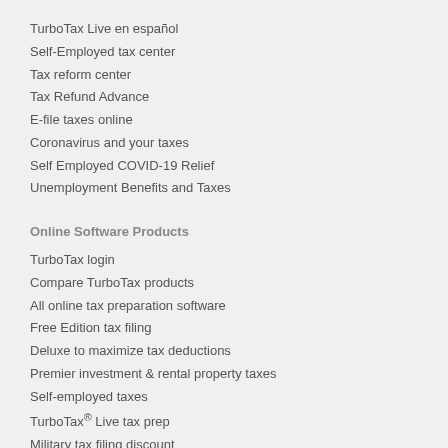TurboTax Live en español
Self-Employed tax center
Tax reform center
Tax Refund Advance
E-file taxes online
Coronavirus and your taxes
Self Employed COVID-19 Relief
Unemployment Benefits and Taxes
Online Software Products
TurboTax login
Compare TurboTax products
All online tax preparation software
Free Edition tax filing
Deluxe to maximize tax deductions
Premier investment & rental property taxes
Self-employed taxes
TurboTax® Live tax prep
Military tax filing discount
TurboTax Live Tax Expert Products
How TurboTax Live Works